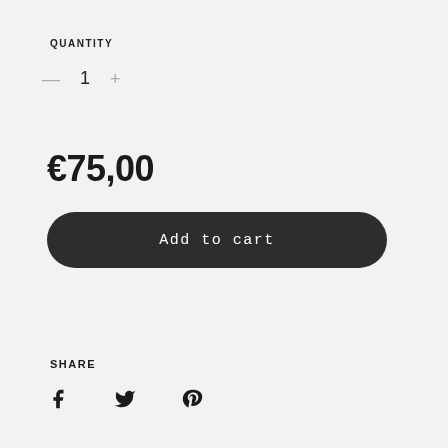QUANTITY
— 1 +
€75,00
Add to cart
SHARE
[Figure (other): Social share icons: Facebook, Twitter, Pinterest]